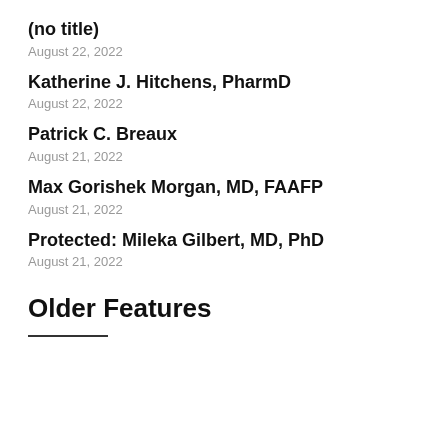(no title)
August 22, 2022
Katherine J. Hitchens, PharmD
August 22, 2022
Patrick C. Breaux
August 21, 2022
Max Gorishek Morgan, MD, FAAFP
August 21, 2022
Protected: Mileka Gilbert, MD, PhD
August 21, 2022
Older Features